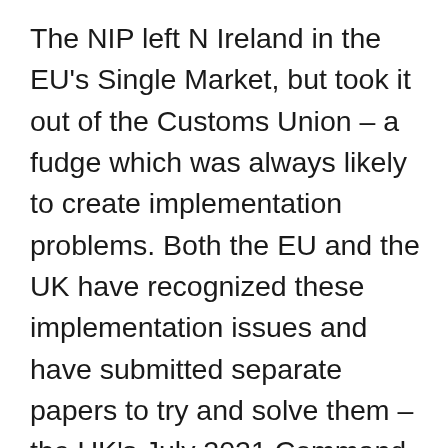The NIP left N Ireland in the EU's Single Market, but took it out of the Customs Union – a fudge which was always likely to create implementation problems. Both the EU and the UK have recognized these implementation issues and have submitted separate papers to try and solve them – the UK's July 2021 Command Paper and the EU's October 2021 response (perhaps ironically, given that the NIP arrangement appears to be working for N Ireland, with its economy growing faster than that of the rest of the UK except London). The UK Government rejected the EU's proposals arguing they did not go far enough in